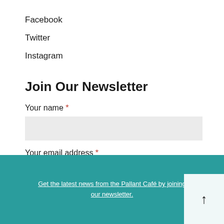Facebook
Twitter
Instagram
Join Our Newsletter
Your name *
Your email address *
Get the latest news from the Pallant Café by joining our newsletter.